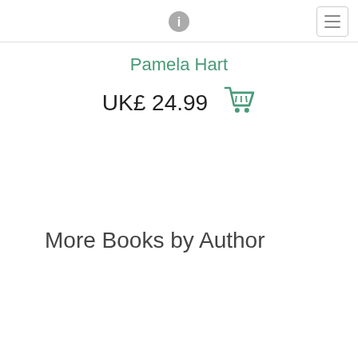info icon and navigation menu
Pamela Hart
UK£ 24.99
More Books by Author